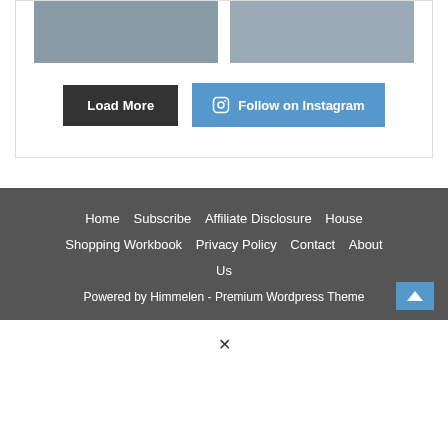[Figure (photo): Two partial photo thumbnails side by side: left shows a person at a doorway, right shows a bathroom with toilet and cabinet]
Load More
Follow on Instagram
Home  Subscribe  Affiliate Disclosure  House Shopping Workbook  Privacy Policy  Contact  About Us
Powered by Himmelen - Premium Wordpress Theme